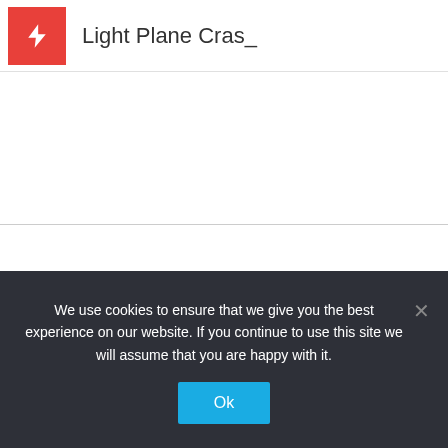Light Plane Cras_
We use cookies to ensure that we give you the best experience on our website. If you continue to use this site we will assume that you are happy with it.
Ok